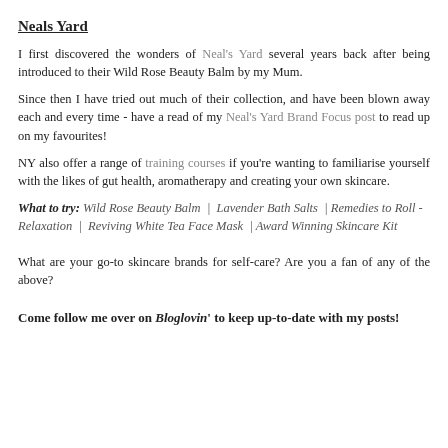Neals Yard
I first discovered the wonders of Neal's Yard several years back after being introduced to their Wild Rose Beauty Balm by my Mum.
Since then I have tried out much of their collection, and have been blown away each and every time - have a read of my Neal's Yard Brand Focus post to read up on my favourites!
NY also offer a range of training courses if you're wanting to familiarise yourself with the likes of gut health, aromatherapy and creating your own skincare.
What to try: Wild Rose Beauty Balm | Lavender Bath Salts | Remedies to Roll - Relaxation | Reviving White Tea Face Mask | Award Winning Skincare Kit
What are your go-to skincare brands for self-care? Are you a fan of any of the above?
Come follow me over on Bloglovin' to keep up-to-date with my posts!